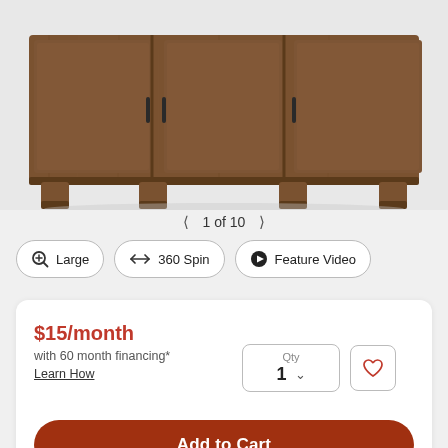[Figure (photo): Product photo of a brown walnut wood sideboard/cabinet with three doors and black handles, shown on a light gray background, partially cropped at the top.]
< 1 of 10 >
Large
360 Spin
Feature Video
$15/month
with 60 month financing*
Learn How
Qty 1
Add to Cart